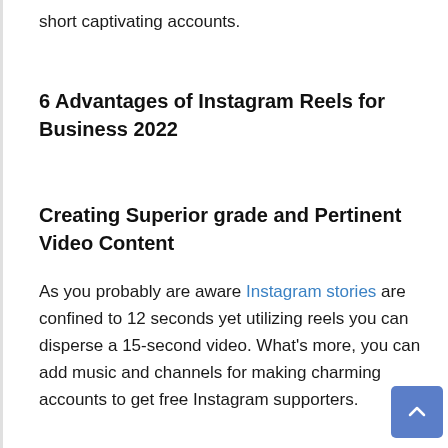short captivating accounts.
6 Advantages of Instagram Reels for Business 2022
Creating Superior grade and Pertinent Video Content
As you probably are aware Instagram stories are confined to 12 seconds yet utilizing reels you can disperse a 15-second video. What's more, you can add music and channels for making charming accounts to get free Instagram supporters.